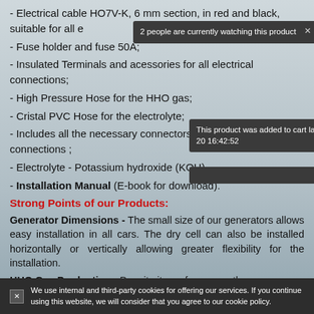- Electrical cable HO7V-K, 6 mm section, in red and black, suitable for all environments;
- Fuse holder and fuse 50A;
- Insulated Terminals and acessories for all electrical connections;
- High Pressure Hose for the HHO gas;
- Cristal PVC Hose for the electrolyte;
- Includes all the necessary connectors and sockets for the connections ;
- Electrolyte - Potassium hydroxide (KOH)
- Installation Manual (E-book for download).
Strong Points of our Products:
Generator Dimensions - The small size of our generators allows easy installation in all cars. The dry cell can also be installed horizontally or vertically allowing greater flexibility for the installation.
HHO Gas Production - Despite its performance, the
2 people are currently watching this product
This product was added to cart last 2019-03-20 16:42:52
[ close all ]
We use internal and third-party cookies for offering our services. If you continue using this website, we will consider that you agree to our cookie policy.